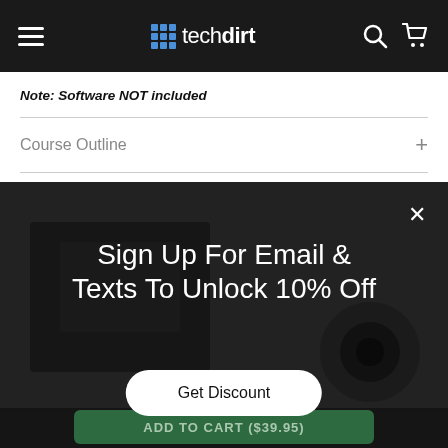techdirt
Note: Software NOT included
Course Outline
Sign Up For Email & Texts To Unlock 10% Off
Get Discount
ADD TO CART ($39.95)